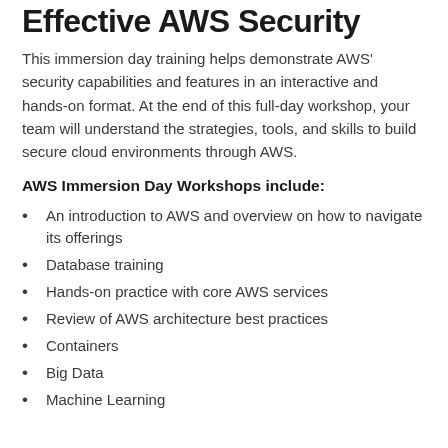Effective AWS Security
This immersion day training helps demonstrate AWS' security capabilities and features in an interactive and hands-on format. At the end of this full-day workshop, your team will understand the strategies, tools, and skills to build secure cloud environments through AWS.
AWS Immersion Day Workshops include:
An introduction to AWS and overview on how to navigate its offerings
Database training
Hands-on practice with core AWS services
Review of AWS architecture best practices
Containers
Big Data
Machine Learning